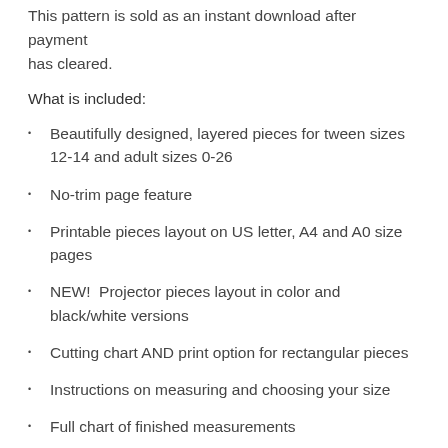This pattern is sold as an instant download after payment has cleared.
What is included:
Beautifully designed, layered pieces for tween sizes 12-14 and adult sizes 0-26
No-trim page feature
Printable pieces layout on US letter, A4 and A0 size pages
NEW!  Projector pieces layout in color and black/white versions
Cutting chart AND print option for rectangular pieces
Instructions on measuring and choosing your size
Full chart of finished measurements